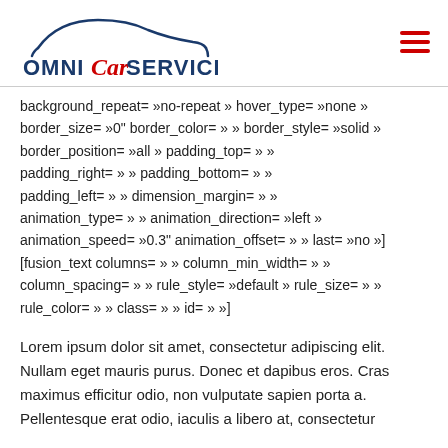[Figure (logo): OmniCarService logo with car silhouette outline above text. 'OMNI' in dark blue, 'Car' in red script, 'SERVICE' in dark blue.]
background_repeat= »no-repeat » hover_type= »none » border_size= »0" border_color= » » border_style= »solid » border_position= »all » padding_top= » » padding_right= » » padding_bottom= » » padding_left= » » dimension_margin= » » animation_type= » » animation_direction= »left » animation_speed= »0.3" animation_offset= » » last= »no »] [fusion_text columns= » » column_min_width= » » column_spacing= » » rule_style= »default » rule_size= » » rule_color= » » class= » » id= » »]
Lorem ipsum dolor sit amet, consectetur adipiscing elit. Nullam eget mauris purus. Donec et dapibus eros. Cras maximus efficitur odio, non vulputate sapien porta a. Pellentesque erat odio, iaculis a libero at, consectetur